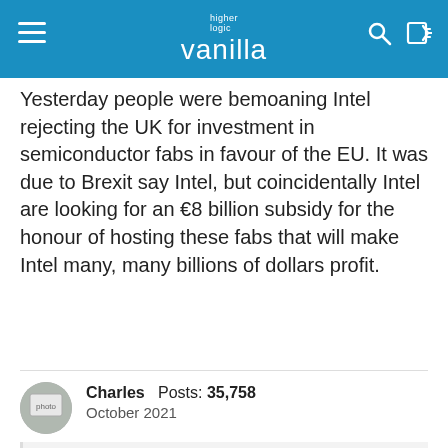higher logic vanilla
Yesterday people were bemoaning Intel rejecting the UK for investment in semiconductor fabs in favour of the EU. It was due to Brexit say Intel, but coincidentally Intel are looking for an €8 billion subsidy for the honour of hosting these fabs that will make Intel many, many billions of dollars profit.
Charles Posts: 35,758
October 2021
OnlyLivingBoy said:
show previous quotes
I approve of people doing things I think are worthy of approval, and disapprove of people doing things I think are worthy of disapproval. I